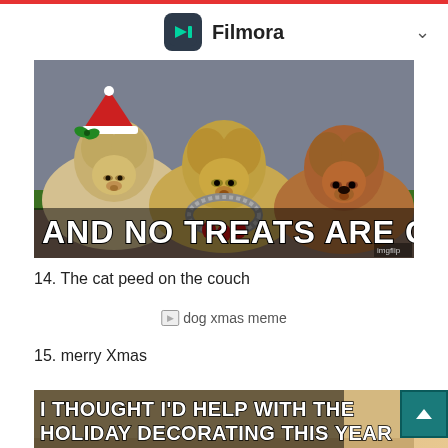Filmora
[Figure (photo): Three dogs lying side by side wearing Christmas decorations (elf hat, tinsel wreath, and a skeptical-looking German Shepherd). Meme text reads: AND NO TREATS ARE GIVEN]
14. The cat peed on the couch
[Figure (photo): Placeholder image labeled: dog xmas meme]
15. merry Xmas
[Figure (photo): Meme image with text: I THOUGHT I'D HELP WITH THE HOLIDAY DECORATING THIS YEAR]